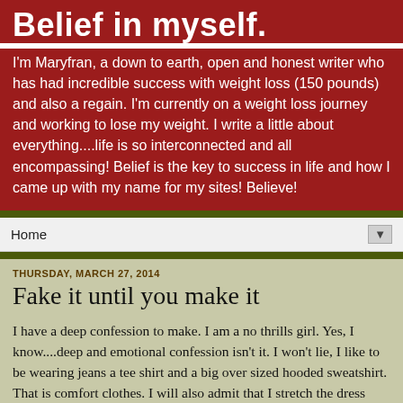Belief in myself.
I'm Maryfran, a down to earth, open and honest writer who has had incredible success with weight loss (150 pounds) and also a regain. I'm currently on a weight loss journey and working to lose my weight. I write a little about everything....life is so interconnected and all encompassing! Belief is the key to success in life and how I came up with my name for my sites! Believe!
Home
THURSDAY, MARCH 27, 2014
Fake it until you make it
I have a deep confession to make.  I am a no thrills girl.  Yes, I know....deep and emotional confession isn't it.  I won't lie, I like to be wearing jeans a tee shirt and a big over sized hooded sweatshirt.  That is comfort clothes.  I will also admit that I stretch the dress code as far as humanly possible at work...dressing down just to the edge of where it would be